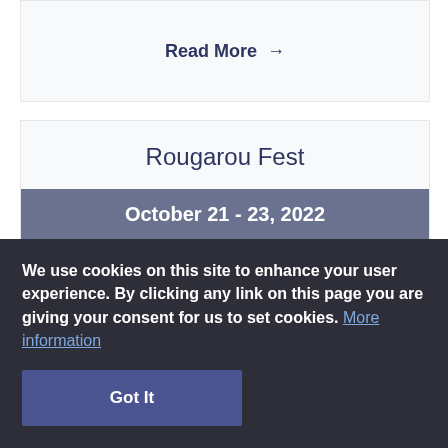Read More →
Rougarou Fest
October 21 - 23, 2022
The Rougarou Fest is a FREE family-friendly
We use cookies on this site to enhance your user experience. By clicking any link on this page you are giving your consent for us to set cookies. More information
Got It